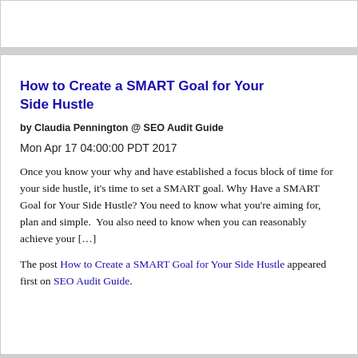How to Create a SMART Goal for Your Side Hustle
by Claudia Pennington @ SEO Audit Guide
Mon Apr 17 04:00:00 PDT 2017
Once you know your why and have established a focus block of time for your side hustle, it’s time to set a SMART goal. Why Have a SMART Goal for Your Side Hustle? You need to know what you’re aiming for, plan and simple.  You also need to know when you can reasonably achieve your […]
The post How to Create a SMART Goal for Your Side Hustle appeared first on SEO Audit Guide.